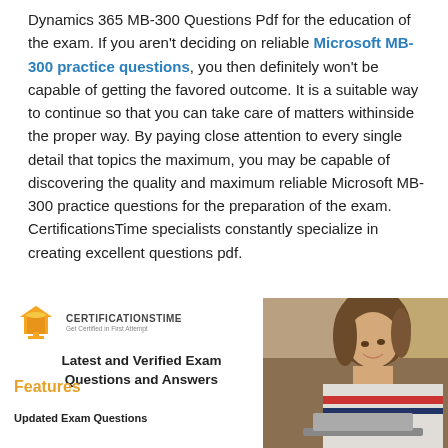Dynamics 365 MB-300 Questions Pdf for the education of the exam. If you aren't deciding on reliable Microsoft MB-300 practice questions, you then definitely won't be capable of getting the favored outcome. It is a suitable way to continue so that you can take care of matters withinside the proper way. By paying close attention to every single detail that topics the maximum, you may be capable of discovering the quality and maximum reliable Microsoft MB-300 practice questions for the preparation of the exam. CertificationsTime specialists constantly specialize in creating excellent questions pdf.
[Figure (logo): CertificationsTime logo with graduation cap icon and tagline 'Get Certified in First Attempt', plus text 'Latest and Verified Exam Questions and Answers']
Features
Updated Exam Questions
[Figure (photo): Photo of a young woman smiling while working on a laptop]